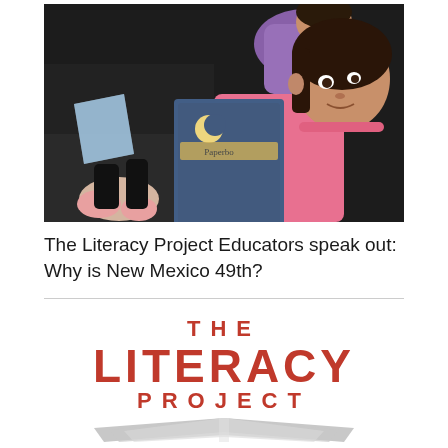[Figure (photo): A young girl in a pink shirt holds up a book called 'The Paperbag' while sitting in what appears to be a car. Other children are visible in the background.]
The Literacy Project Educators speak out: Why is New Mexico 49th?
[Figure (logo): The Literacy Project logo with red text reading THE LITERACY PROJECT above an open book graphic with gray pages fanning out.]